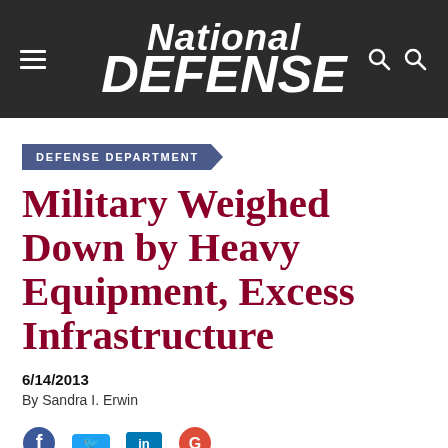National Defense
DEFENSE DEPARTMENT
Military Weighed Down by Heavy Equipment, Excess Infrastructure
6/14/2013
By Sandra I. Erwin